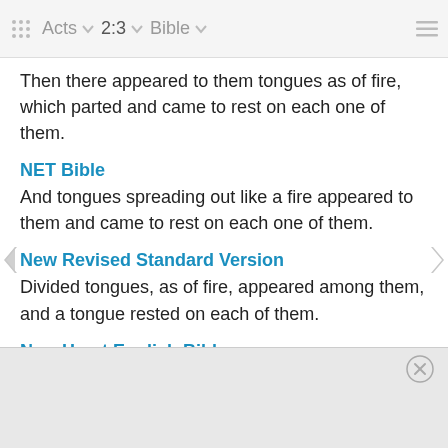Acts  2:3  Bible
Then there appeared to them tongues as of fire, which parted and came to rest on each one of them.
NET Bible
And tongues spreading out like a fire appeared to them and came to rest on each one of them.
New Revised Standard Version
Divided tongues, as of fire, appeared among them, and a tongue rested on each of them.
New Heart English Bible
Tongues like fire appeared and were distributed to them, and one sat on each of them.
Weymouth New Testament
and they saw tongues of what looked like fire distributed… on the he…